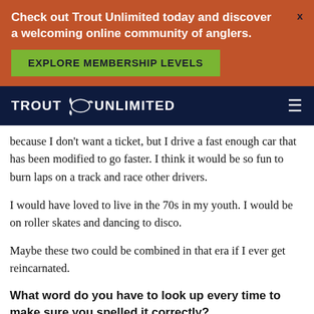[Figure (other): Orange promotional banner for Trout Unlimited with headline text, close button, and green explore membership levels button]
TROUT UNLIMITED [logo] ≡
because I don't want a ticket, but I drive a fast enough car that has been modified to go faster. I think it would be so fun to burn laps on a track and race other drivers.
I would have loved to live in the 70s in my youth. I would be on roller skates and dancing to disco.
Maybe these two could be combined in that era if I ever get reincarnated.
What word do you have to look up every time to make sure you spelled it correctly?